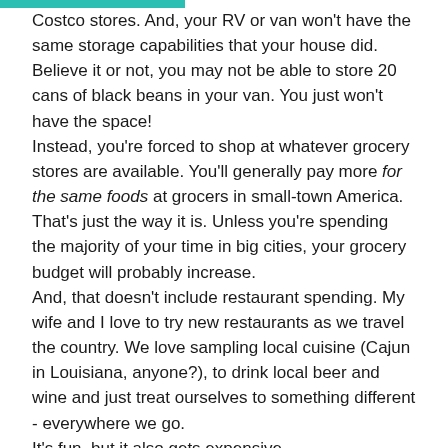Costco stores. And, your RV or van won't have the same storage capabilities that your house did. Believe it or not, you may not be able to store 20 cans of black beans in your van. You just won't have the space!
Instead, you're forced to shop at whatever grocery stores are available. You'll generally pay more for the same foods at grocers in small-town America. That's just the way it is. Unless you're spending the majority of your time in big cities, your grocery budget will probably increase.
And, that doesn't include restaurant spending. My wife and I love to try new restaurants as we travel the country. We love sampling local cuisine (Cajun in Louisiana, anyone?), to drink local beer and wine and just treat ourselves to something different - everywhere we go.
It's fun, but it also gets expensive.